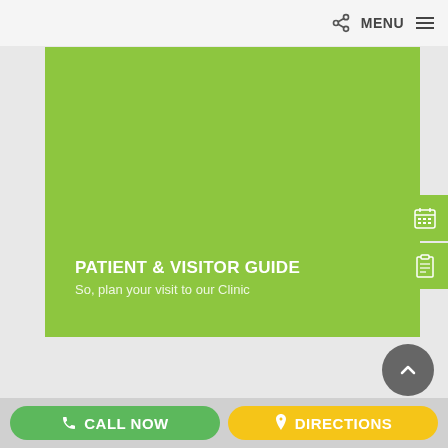MENU
[Figure (illustration): Green hero banner for Patient & Visitor Guide with title text and subtitle overlaid on solid lime-green background]
PATIENT & VISITOR GUIDE
So, plan your visit to our Clinic
CALL NOW
DIRECTIONS